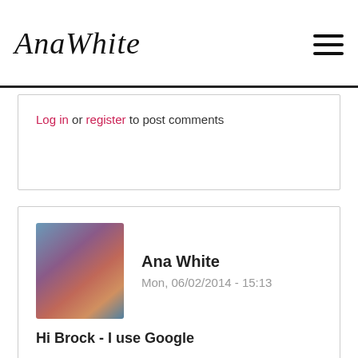Ana White
Log in or register to post comments
[Figure (photo): Profile photo of Ana White - a woman holding a child, outdoor background]
Ana White
Mon, 06/02/2014 - 15:13
Hi Brock - I use Google
Hi Brock - I use Google Sketchup for plans. It's free and pretty easy to pick up. Can't wait to see your plans! Thank you. Ana
Log in or register to post comments